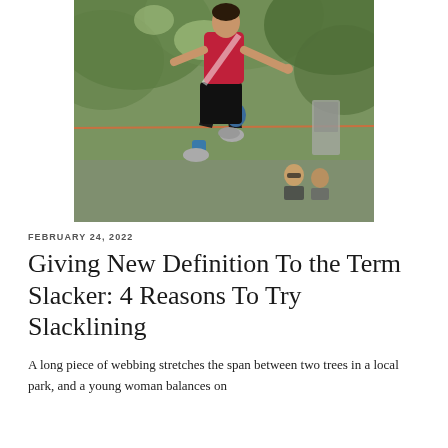[Figure (photo): A person balancing on a slackline in a park. They wear a red t-shirt, black shorts, blue knee pad, and grey shoes. Trees are visible in the background and spectators can be seen below.]
FEBRUARY 24, 2022
Giving New Definition To the Term Slacker: 4 Reasons To Try Slacklining
A long piece of webbing stretches the span between two trees in a local park, and a young woman balances on